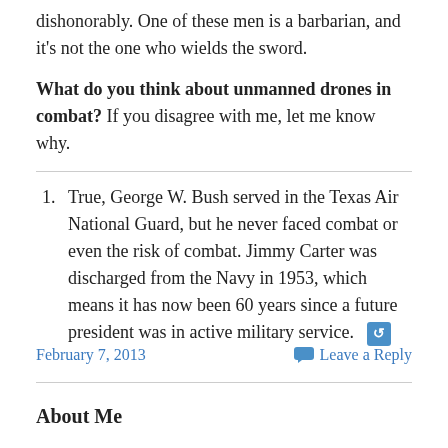dishonorably. One of these men is a barbarian, and it's not the one who wields the sword.
What do you think about unmanned drones in combat? If you disagree with me, let me know why.
True, George W. Bush served in the Texas Air National Guard, but he never faced combat or even the risk of combat. Jimmy Carter was discharged from the Navy in 1953, which means it has now been 60 years since a future president was in active military service.
February 7, 2013
Leave a Reply
About Me